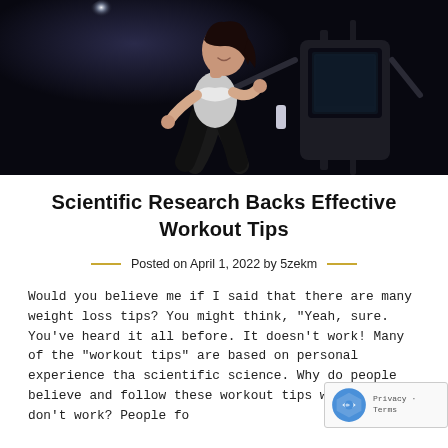[Figure (photo): Woman running on a treadmill in a dark gym, wearing a sports bra and leggings, with gym equipment visible in the background]
Scientific Research Backs Effective Workout Tips
Posted on April 1, 2022 by 5zekm
Would you believe me if I said that there are many weight loss tips? You might think, "Yeah, sure. You've heard it all before. It doesn't work! Many of the "workout tips" are based on personal experience tha scientific science. Why do people believe and follow these workout tips when they don't work? People follow